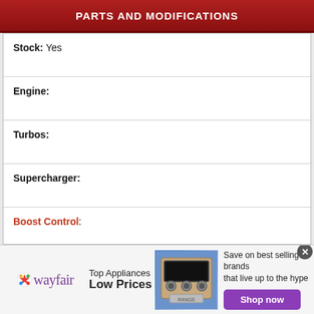PARTS AND MODIFICATIONS
| Stock: | Yes |
| Engine: |  |
| Turbos: |  |
| Supercharger: |  |
| Boost Control: |  |
| Boost Pressure (psi): |  |
| Intercooler: |  |
| Nitrous Kit/System: |  |
| Nitrous Shot: |  |
[Figure (infographic): Wayfair advertisement banner: logo, 'Top Appliances Low Prices', oven image, 'Save on best selling brands that live up to the hype', purple 'Shop now' button, close X button]